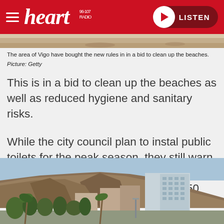heart 96-107 — LISTEN
[Figure (photo): Partial beach scene showing people sunbathing on sand, cropped at top]
The area of Vigo have bought the new rules in in a bid to clean up the beaches. Picture: Getty
This is in a bid to clean up the beaches as well as reduced hygiene and sanitary risks.
While the city council plan to instal public toilets for the peak season, they still warn that anyone caught urinating in sea or on the beach will face a fine of up to €750 (£645).
[Figure (photo): Cityscape photo showing a large rocky cliff/mountain backdrop behind buildings with palm trees in foreground]